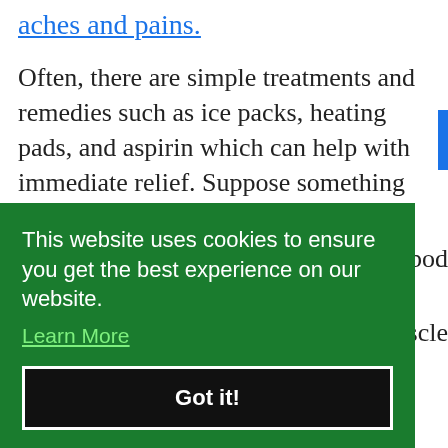aches and pains.
Often, there are simple treatments and remedies such as ice packs, heating pads, and aspirin which can help with immediate relief. Suppose something more serious is going on - especially overuse of muscles. In that case, one should seek medical attention
This website uses cookies to ensure you get the best experience on our website.
Learn More
Got it!